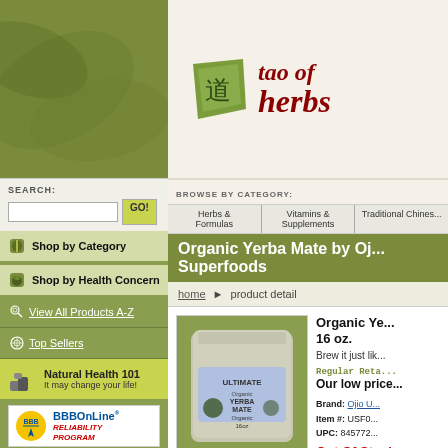[Figure (logo): Tao of Herbs logo with green leaf icon and red italic text]
SEARCH:
GO!
Shop by Category
Shop by Health Concern
View All Products A-Z
Top Sellers
Natural Health 101
It may change your life!
[Figure (logo): BBBOnLine Reliability Program badge]
[Figure (logo): Find us on Facebook badge]
BROWSE BY CATEGORY:
Herbs & Formulas
Vitamins & Supplements
Traditional Chinese
Organic Yerba Mate by Oj... Superfoods
home › product detail
[Figure (photo): Product photo of Organic Yerba Mate bag (Ultimate brand) 16oz]
Click for Larger Image
Organic Ye...
16 oz.
Brew it just lik...
Regular Reta...
Our low price...
Brand: Ojio U...
Item #: USF0...
UPC: 845772...
Out Of Stock